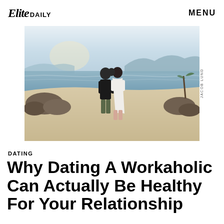Elite DAILY   MENU
[Figure (photo): A couple kissing on a rocky beach at sunset, man in dark t-shirt and shorts, woman in white dress, scenic coastal landscape in background]
JACOB LUND
DATING
Why Dating A Workaholic Can Actually Be Healthy For Your Relationship